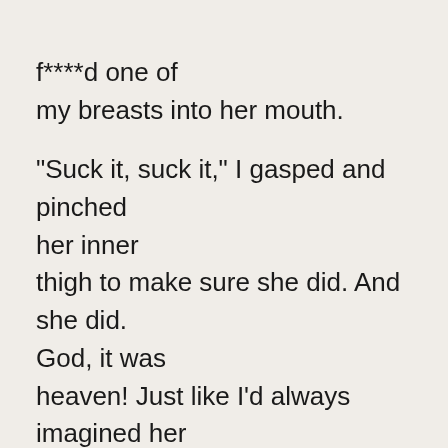f****d one of my breasts into her mouth.

“Suck it, suck it,” I gasped and pinched her inner thigh to make sure she did. And she did. God, it was heaven! Just like I’d always imagined her tongue would be.

Pausing only to switch breasts I f****d